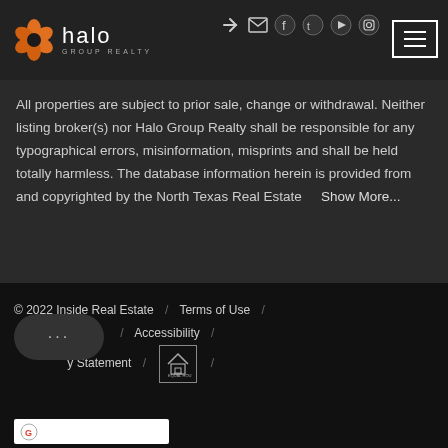[Figure (logo): Halo Group Realty logo with orange flower icon and white text]
All properties are subject to prior sale, change or withdrawal. Neither listing broker(s) nor Halo Group Realty shall be responsible for any typographical errors, misinformation, misprints and shall be held totally harmless. The database information herein is provided from and copyrighted by the North Texas Real Estate   Show More...
© 2022 Inside Real Estate / Terms of Use / Accessibility / Statement / [Equal Housing Logo] /